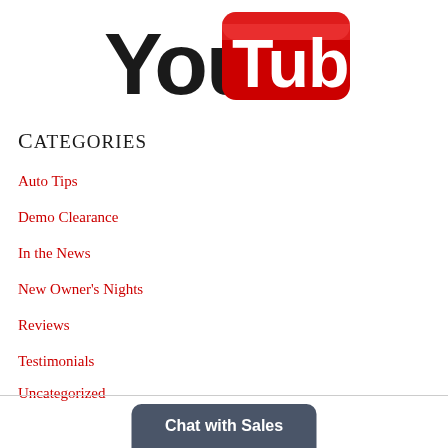[Figure (logo): YouTube logo with 'You' in black bold text and 'Tube' in white text on a red rounded rectangle background]
Categories
Auto Tips
Demo Clearance
In the News
New Owner's Nights
Reviews
Testimonials
Uncategorized
Used Inventory
Chat with Sales